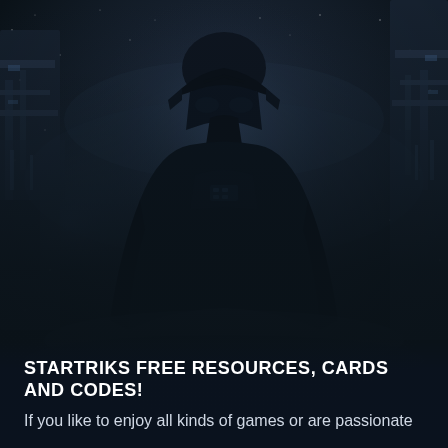[Figure (illustration): Dark atmospheric background showing the silhouette of a figure in a helmet (resembling a sci-fi villain like Darth Vader) standing against a dark blue-grey misty cityscape or battle scene, with mechanical structures visible on the sides.]
STARTRIKS FREE RESOURCES, CARDS AND CODES!
If you like to enjoy all kinds of games or are passionate